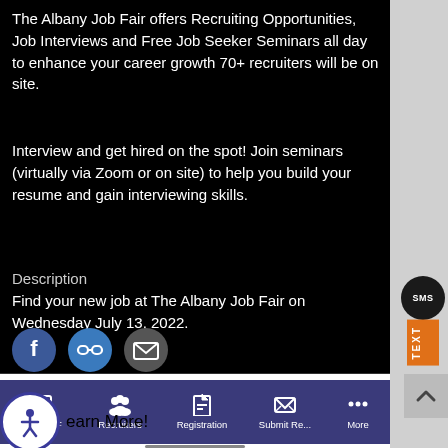The Albany Job Fair offers Recruiting Opportunities, Job Interviews and Free Job Seeker Seminars all day to enhance your career growth 70+ recruiters will be on site.
Interview and get hired on the spot! Join seminars (virtually via Zoom or on site) to help you build your resume and gain interviewing skills.
Description
Find your new job at The Albany Job Fair on Wednesday July 13, 2022.
[Figure (infographic): Three circular social sharing icons: Facebook (blue), link/share (blue), and email/envelope (dark grey)]
[Figure (infographic): SMS text chat bubble icon in dark circle with label SMS, orange TEXT banner below]
Create a welcoming environment for Job Seekers to Interview and find
[Figure (infographic): Navigation bar with icons and labels: About AJF (computer monitor), Recruiters (group of people), Registration (hand with card), Submit Re... (open envelope), More (three dots)]
[Figure (infographic): Accessibility icon circle (person with arms out) with text 'earn More!']